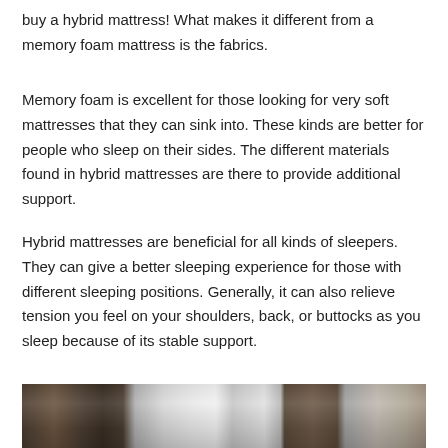buy a hybrid mattress! What makes it different from a memory foam mattress is the fabrics.
Memory foam is excellent for those looking for very soft mattresses that they can sink into. These kinds are better for people who sleep on their sides. The different materials found in hybrid mattresses are there to provide additional support.
Hybrid mattresses are beneficial for all kinds of sleepers. They can give a better sleeping experience for those with different sleeping positions. Generally, it can also relieve tension you feel on your shoulders, back, or buttocks as you sleep because of its stable support.
[Figure (photo): A grayscale photograph of a bedroom interior showing wooden furniture, a window with light coming through, and a lamp on a nightstand.]